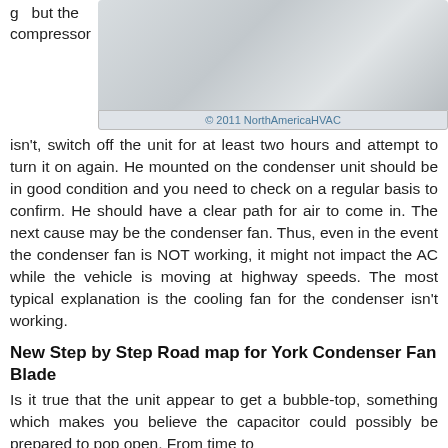g but the compressor
[Figure (photo): Photo of a white/silver AC compressor unit with copyright notice © 2011 NorthAmericaHVAC]
isn't, switch off the unit for at least two hours and attempt to turn it on again. He mounted on the condenser unit should be in good condition and you need to check on a regular basis to confirm. He should have a clear path for air to come in. The next cause may be the condenser fan. Thus, even in the event the condenser fan is NOT working, it might not impact the AC while the vehicle is moving at highway speeds. The most typical explanation is the cooling fan for the condenser isn't working.
New Step by Step Road map for York Condenser Fan Blade
Is it true that the unit appear to get a bubble-top, something which makes you believe the capacitor could possibly be prepared to pop open. From time to